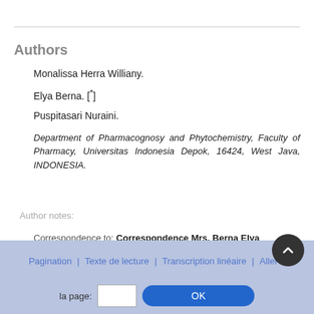Authors
Monalissa Herra Williany.
Elya Berna. [*]
Puspitasari Nuraini.
Department of Pharmacognosy and Phytochemistry, Faculty of Pharmacy, Universitas Indonesia Depok, 16424, West Java, INDONESIA.
Author notes:
Correspondence to: Correspondence Mrs. Berna Elya Departmen of Pharmacognosy and Phytochemistry, Faculty of Pharmacy, Universitas Indonesia Depok, 16424, West Java, INDONESIA. Ph...+62814 4161 497 E-mail...
Pagination | Texte de lecture | Transcription linéaire | Aller à la page: [  ] OK